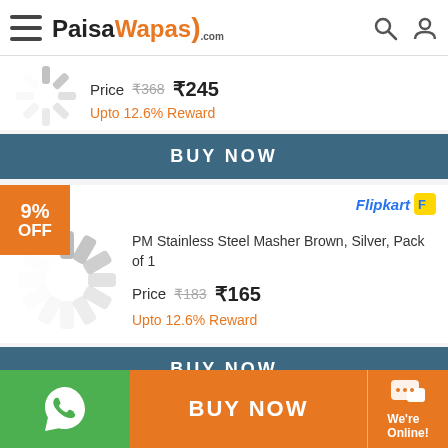PaisaWapas.com
Price ₹368 ₹245
Upto 12.6% Reward
BUY NOW
9% OFF
PM Stainless Steel Masher Brown, Silver, Pack of 1
Price ₹183 ₹165
Upto 12.6% Reward
BUY NOW
BUY NOW
We're Online!